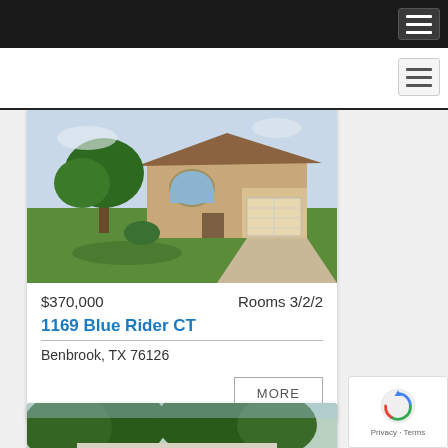Navigation menu (dark top bar)
Navigation menu (white sub-bar)
[Figure (photo): Exterior photo of a single-story brick home with two-car garage, green lawn and a large tree casting shadows in the foreground.]
$370,000    Rooms 3/2/2
1169 Blue Rider CT
Benbrook, TX 76126
MORE
[Figure (photo): Exterior photo of a second property with large mature trees in front.]